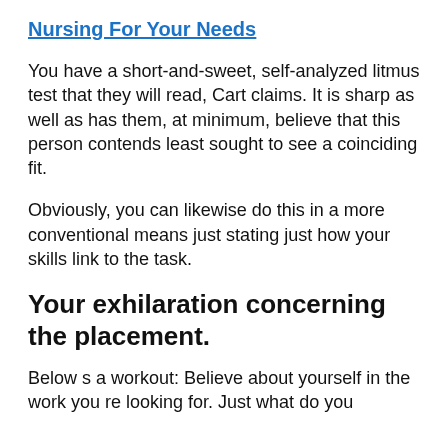Nursing For Your Needs
You have a short-and-sweet, self-analyzed litmus test that they will read, Cart claims. It is sharp as well as has them, at minimum, believe that this person contends least sought to see a coinciding fit.
Obviously, you can likewise do this in a more conventional means just stating just how your skills link to the task.
Your exhilaration concerning the placement.
Below s a workout: Believe about yourself in the work you re looking for. Just what do you